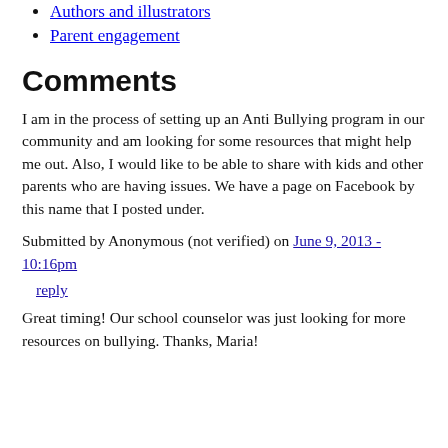Authors and illustrators
Parent engagement
Comments
I am in the process of setting up an Anti Bullying program in our community and am looking for some resources that might help me out. Also, I would like to be able to share with kids and other parents who are having issues. We have a page on Facebook by this name that I posted under.
Submitted by Anonymous (not verified) on June 9, 2013 - 10:16pm
reply
Great timing! Our school counselor was just looking for more resources on bullying. Thanks, Maria!